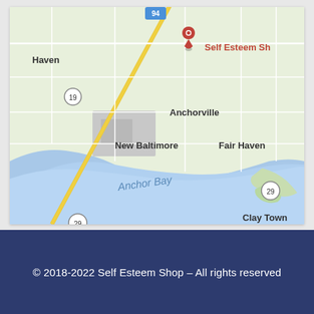[Figure (map): Google Maps screenshot showing Anchor Bay area near New Baltimore, Anchorville, Fair Haven, Michigan. A red location pin marks 'Self Esteem Sh' (Self Esteem Shop). Route 94, Route 19, and Route 29 are visible. Anchor Bay water body is shown in blue. Clay Town is visible at the bottom right.]
© 2018-2022 Self Esteem Shop – All rights reserved